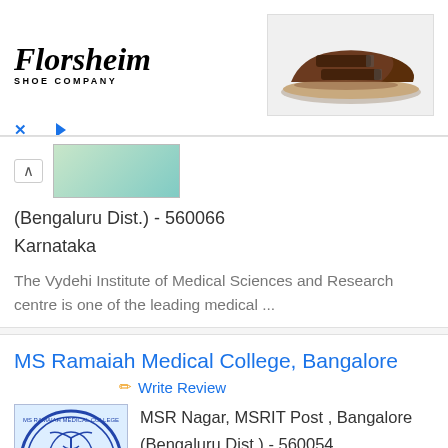[Figure (photo): Florsheim Shoe Company advertisement banner with logo on left and brown sandal/shoe on right]
(Bengaluru Dist.) - 560066
Karnataka
The Vydehi Institute of Medical Sciences and Research centre is one of the leading medical ...
MS Ramaiah Medical College, Bangalore
Write Review
[Figure (logo): MS Ramaiah Medical College circular emblem/seal with blue and white colors]
MSR Nagar, MSRIT Post , Bangalore (Bengaluru Dist.) - 560054 Karnataka
MS Ramaiah Medical College is considered to be one